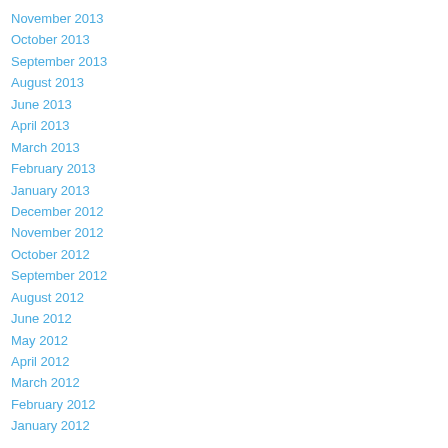November 2013
October 2013
September 2013
August 2013
June 2013
April 2013
March 2013
February 2013
January 2013
December 2012
November 2012
October 2012
September 2012
August 2012
June 2012
May 2012
April 2012
March 2012
February 2012
January 2012